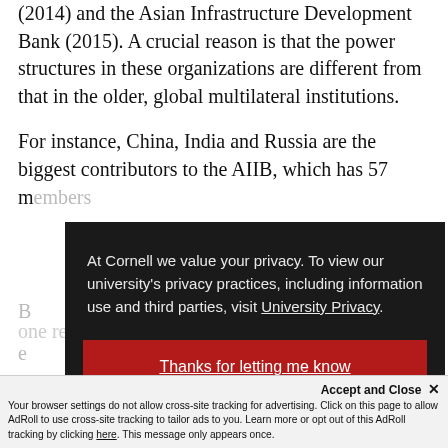(2014) and the Asian Infrastructure Development Bank (2015). A crucial reason is that the power structures in these organizations are different from that in the older, global multilateral institutions.
For instance, China, India and Russia are the biggest contributors to the AIIB, which has 57 m[embers]... B[ank]... e[nough]... ns o[f]... i[nstitutions]... s
[Figure (screenshot): Cornell University privacy consent modal overlay with dark background. Text reads: 'At Cornell we value your privacy. To view our university's privacy practices, including information use and third parties, visit University Privacy.' Below is a red button labeled 'Thanks for letting me know'.]
Your browser settings do not allow cross-site tracking for advertising. Click on this page to allow AdRoll to use cross-site tracking to tailor ads to you. Learn more or opt out of this AdRoll tracking by clicking here. This message only appears once.
one renminbi forex currency markets in th